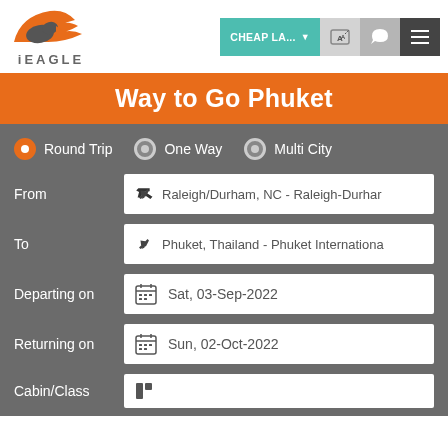[Figure (logo): iEAGLE logo with orange eagle wing graphic and dark grey text iEAGLE]
[Figure (screenshot): Navigation bar with CHEAP LA... dropdown button in teal, language selector, chat icon, and hamburger menu]
Way to Go Phuket
Round Trip (selected), One Way, Multi City radio options
From: Raleigh/Durham, NC - Raleigh-Durham
To: Phuket, Thailand - Phuket International
Departing on: Sat, 03-Sep-2022
Returning on: Sun, 02-Oct-2022
Cabin/Class